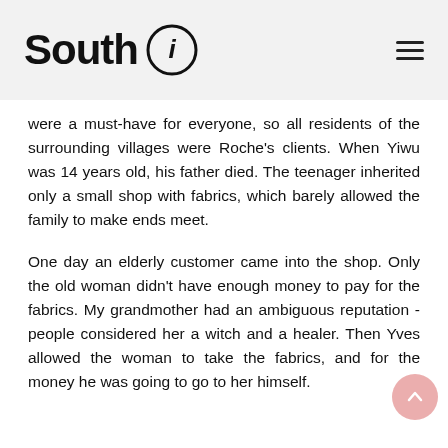South i
were a must-have for everyone, so all residents of the surrounding villages were Roche's clients. When Yiwu was 14 years old, his father died. The teenager inherited only a small shop with fabrics, which barely allowed the family to make ends meet.
One day an elderly customer came into the shop. Only the old woman didn't have enough money to pay for the fabrics. My grandmother had an ambiguous reputation - people considered her a witch and a healer. Then Yves allowed the woman to take the fabrics, and for the money he was going to go to her himself.